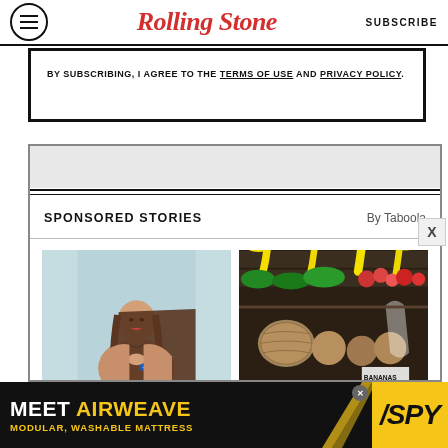Rolling Stone  SUBSCRIBE
BY SUBSCRIBING, I AGREE TO THE TERMS OF USE AND PRIVACY POLICY.
SPONSORED STORIES  By Taboola
[Figure (photo): Two sponsored story images: left shows a young woman smiling and holding a credit card against a light blue background; right shows a grocery store produce section with bananas, fruits and vegetables on display.]
[Figure (infographic): Bottom advertisement banner: MEET AIRWEAVE MODULAR, WASHABLE MATTRESS with SPY logo on yellow background]